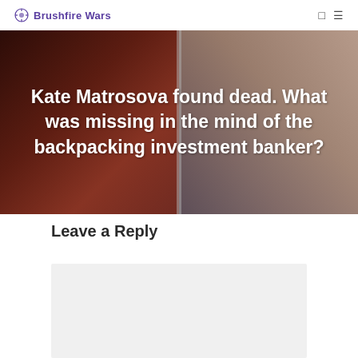Brushfire Wars
Kate Matrosova found dead. What was missing in the mind of the backpacking investment banker?
Leave a Reply
[Figure (other): Empty comment text area box with light gray background]